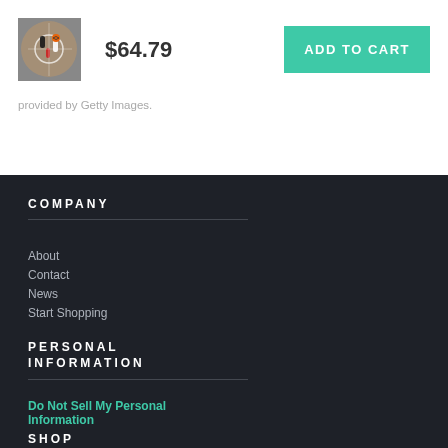[Figure (photo): Product thumbnail showing basketball players aerial view]
$64.79
ADD TO CART
provided by Getty Images.
COMPANY
About
Contact
News
Start Shopping
PERSONAL INFORMATION
Do Not Sell My Personal Information
SHOP